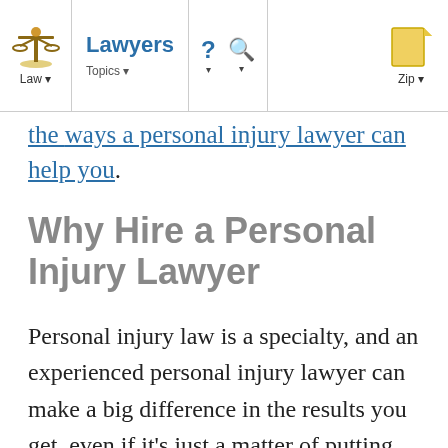Lawyers | Law | Topics | ? | Search | Zip
the ways a personal injury lawyer can help you.
Why Hire a Personal Injury Lawyer
Personal injury law is a specialty, and an experienced personal injury lawyer can make a big difference in the results you get, even if it's just a matter of putting necessary pressure on a reluctant insurance